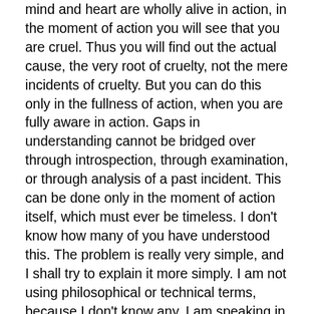mind and heart are wholly alive in action, in the moment of action you will see that you are cruel. Thus you will find out the actual cause, the very root of cruelty, not the mere incidents of cruelty. But you can do this only in the fullness of action, when you are fully aware in action. Gaps in understanding cannot be bridged over through introspection, through examination, or through analysis of a past incident. This can be done only in the moment of action itself, which must ever be timeless. I don't know how many of you have understood this. The problem is really very simple, and I shall try to explain it more simply. I am not using philosophical or technical terms, because I don't know any. I am speaking in everyday language. Mind is accustomed to analyze the past, to dissect action in order to understand action. But I say you cannot understand in this way, for such analysis always limits action. Concrete examples of such limitation of action can